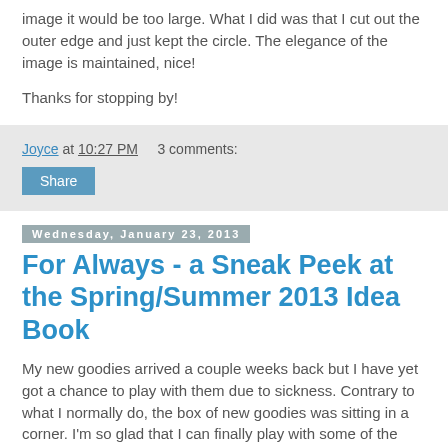image it would be too large. What I did was that I cut out the outer edge and just kept the circle. The elegance of the image is maintained, nice!
Thanks for stopping by!
Joyce at 10:27 PM   3 comments:
Share
Wednesday, January 23, 2013
For Always - a Sneak Peek at the Spring/Summer 2013 Idea Book
My new goodies arrived a couple weeks back but I have yet got a chance to play with them due to sickness. Contrary to what I normally do, the box of new goodies was sitting in a corner. I'm so glad that I can finally play with some of the new toys!
I've chosen to use the For Always paper to participate the